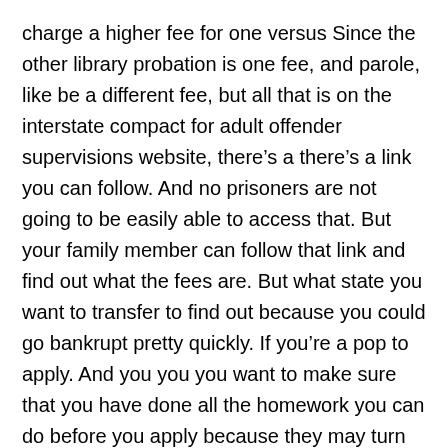charge a higher fee for one versus Since the other library probation is one fee, and parole, like be a different fee, but all that is on the interstate compact for adult offender supervisions website, there’s a there’s a link you can follow. And no prisoners are not going to be easily able to access that. But your family member can follow that link and find out what the fees are. But what state you want to transfer to find out because you could go bankrupt pretty quickly. If you’re a pop to apply. And you you you want to make sure that you have done all the homework you can do before you apply because they may turn you down and then you’ve got to start that cycle all over again with a new proposed address.